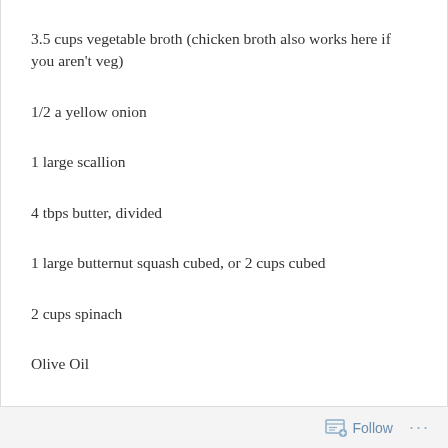3.5 cups vegetable broth (chicken broth also works here if you aren't veg)
1/2 a yellow onion
1 large scallion
4 tbps butter, divided
1 large butternut squash cubed, or 2 cups cubed
2 cups spinach
Olive Oil
Follow ...